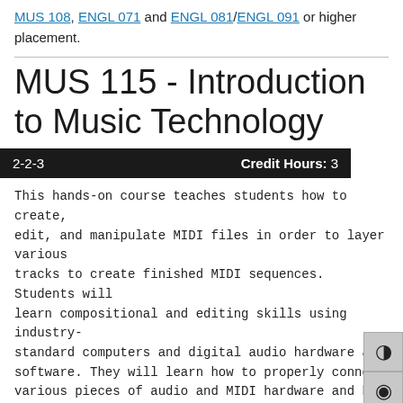MUS 108, ENGL 071 and ENGL 081/ENGL 091 or higher placement.
MUS 115 - Introduction to Music Technology
2-2-3   Credit Hours: 3
This hands-on course teaches students how to create, edit, and manipulate MIDI files in order to layer various tracks to create finished MIDI sequences. Students will learn compositional and editing skills using industry-standard computers and digital audio hardware and software. They will learn how to properly connect various pieces of audio and MIDI hardware and how to